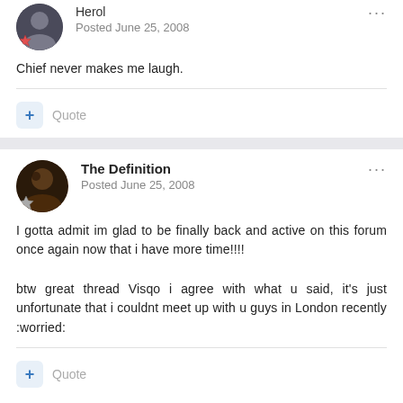Herol
Posted June 25, 2008
Chief never makes me laugh.
Quote
The Definition
Posted June 25, 2008
I gotta admit im glad to be finally back and active on this forum once again now that i have more time!!!!
btw great thread Visqo i agree with what u said, it's just unfortunate that i couldnt meet up with u guys in London recently :worried:
Quote